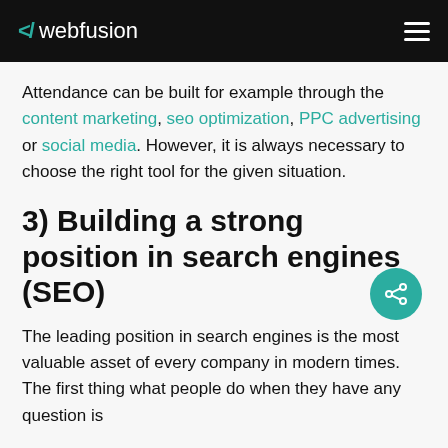</ webfusion
Attendance can be built for example through the content marketing, seo optimization, PPC advertising or social media. However, it is always necessary to choose the right tool for the given situation.
3) Building a strong position in search engines (SEO)
The leading position in search engines is the most valuable asset of every company in modern times. The first thing what people do when they have any question is